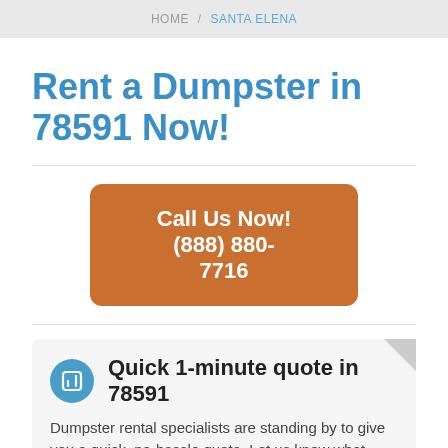HOME / SANTA ELENA
Rent a Dumpster in 78591 Now!
Call Us Now! (888) 880-7716
Quick 1-minute quote in 78591
Dumpster rental specialists are standing by to give you a quick, no-hassle quote. Let us know what dumpster size you are looking for, when you need it, and what zip code